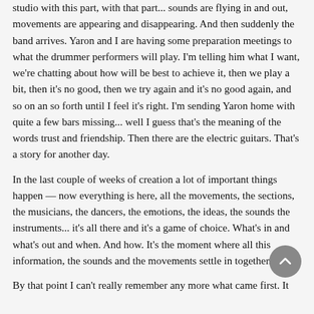studio with this part, with that part... sounds are flying in and out, movements are appearing and disappearing. And then suddenly the band arrives. Yaron and I are having some preparation meetings to what the drummer performers will play. I'm telling him what I want, we're chatting about how will be best to achieve it, then we play a bit, then it's no good, then we try again and it's no good again, and so on an so forth until I feel it's right. I'm sending Yaron home with quite a few bars missing... well I guess that's the meaning of the words trust and friendship. Then there are the electric guitars. That's a story for another day.
In the last couple of weeks of creation a lot of important things happen — now everything is here, all the movements, the sections, the musicians, the dancers, the emotions, the ideas, the sounds the instruments... it's all there and it's a game of choice. What's in and what's out and when. And how. It's the moment where all this information, the sounds and the movements settle in together.
By that point I can't really remember any more what came first. It